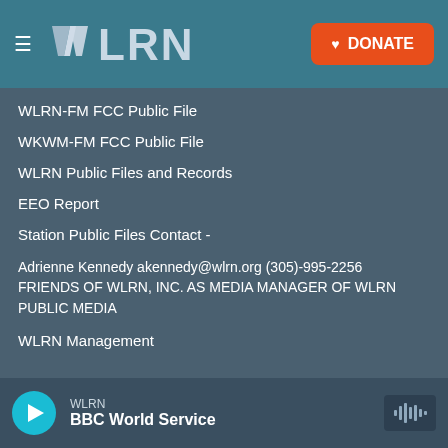[Figure (screenshot): WLRN website header with logo and DONATE button]
WLRN-FM FCC Public File
WKWM-FM FCC Public File
WLRN Public Files and Records
EEO Report
Station Public Files Contact -
Adrienne Kennedy akennedy@wlrn.org (305)-995-2256 FRIENDS OF WLRN, INC. AS MEDIA MANAGER OF WLRN PUBLIC MEDIA
WLRN Management
[Figure (screenshot): Audio player bar at bottom showing WLRN BBC World Service with play button and waveform icon]